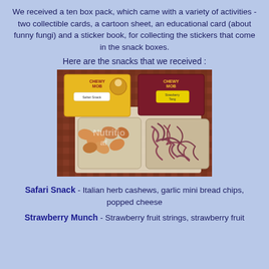We received a ten box pack, which came with a variety of activities - two collectible cards, a cartoon sheet, an educational card (about funny fungi) and a sticker book, for collecting the stickers that come in the snack boxes.
Here are the snacks that we received :
[Figure (photo): Photo of two Chewy Mob snack boxes (Safari Snack in yellow box, Strawberry Munch in dark red box) with two trays of snacks - cashews/bread chips on left tray and strawberry strings on right tray, on a plaid tablecloth background]
Safari Snack - Italian herb cashews, garlic mini bread chips, popped cheese
Strawberry Munch - Strawberry fruit strings, strawberry fruit